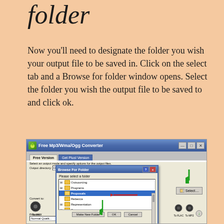folder
Now you'll need to designate the folder you wish your output file to be saved in. Click on the select tab and a Browse for folder window opens. Select the folder you wish the output file to be saved to and click ok.
[Figure (screenshot): Screenshot of Free Mp3/Wma/Ogg Converter application with a 'Browse For Folder' dialog open. The dialog shows a folder tree with directories including Outsourcing, Programs, Proposals (highlighted with a red arrow), Rebecca, Representation, Susan, Sukenu, Sarah Farrant, Walrin, Website. A green arrow points downward in the dialog. The main window has a 'Select...' button with a green arrow above it. A 'Make New Folder', 'OK', and 'Cancel' buttons are at the bottom of the dialog.]